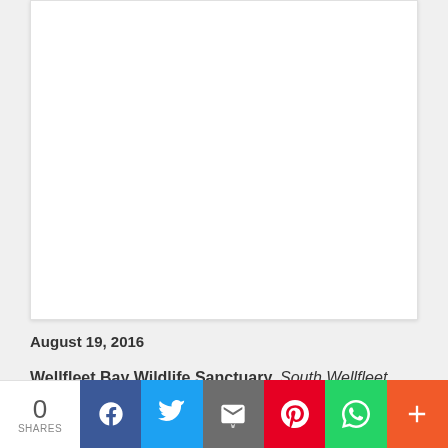[Figure (photo): White/blank image card with border and shadow]
August 19, 2016
Wellfleet Bay Wildlife Sanctuary, South Wellfleet
0 SHARES — social share bar with Facebook, Twitter, Email, Pinterest, WhatsApp, More buttons